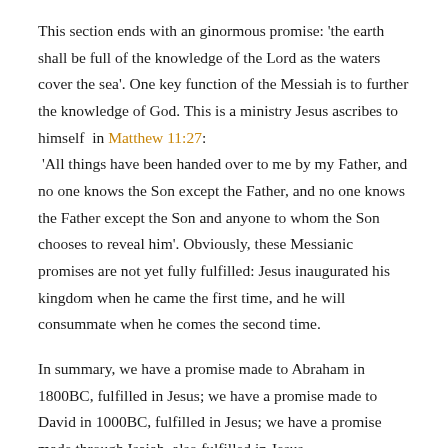This section ends with an ginormous promise: 'the earth shall be full of the knowledge of the Lord as the waters cover the sea'. One key function of the Messiah is to further the knowledge of God. This is a ministry Jesus ascribes to himself in Matthew 11:27: 'All things have been handed over to me by my Father, and no one knows the Son except the Father, and no one knows the Father except the Son and anyone to whom the Son chooses to reveal him'. Obviously, these Messianic promises are not yet fully fulfilled: Jesus inaugurated his kingdom when he came the first time, and he will consummate when he comes the second time.
In summary, we have a promise made to Abraham in 1800BC, fulfilled in Jesus; we have a promise made to David in 1000BC, fulfilled in Jesus; we have a promise made through Isaiah, also fulfilled in Jesus.
So what do we do these promises? Why does Matthew begin the